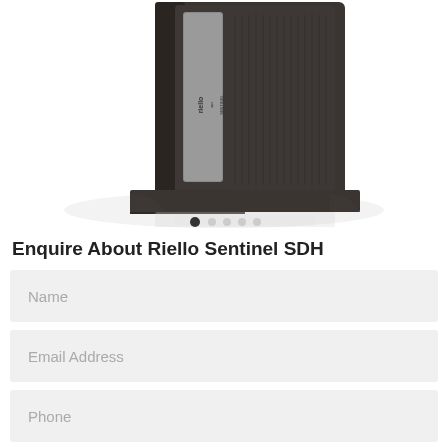[Figure (photo): Riello UPS Sentinel SDH product unit — a tall dark brown/charcoal tower UPS device with a silver accent panel bearing the Riello UPS Sentinel logo, mounted on a wide base with curved foot supports. Image shown cropped from top with carousel navigation dots at bottom.]
Enquire About Riello Sentinel SDH
Name
Email Address
Phone